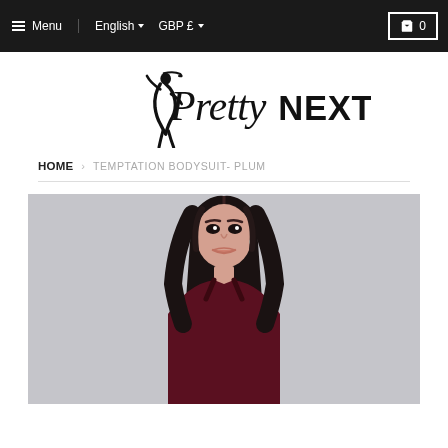Menu  English  GBP £  0
[Figure (logo): PrettyNEXTDOOR logo with a stylized female silhouette]
HOME › TEMPTATION BODYSUIT- PLUM
[Figure (photo): Female model wearing a dark plum/burgundy bodysuit, photographed against a light grey background, cropped from waist up]